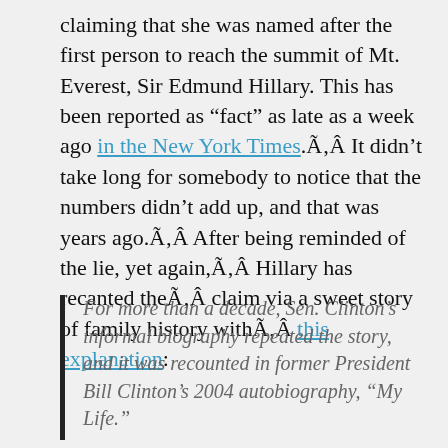claiming that she was named after the first person to reach the summit of Mt. Everest, Sir Edmund Hillary. This has been reported as “fact” as late as a week ago in the New York Times.ÃÂ It didn’t take long for somebody to notice that the numbers didn’t add up, and that was years ago.ÃÂ After being reminded of the lie, yet again,ÃÂ Hillary has recanted theÃÂ claim via a sweet story of family history withÃÂ this explanation:
For more than a decade, Sen. Clinton’s informal biography repeated the story, and it was recounted in former President Bill Clinton’s 2004 autobiography, “My Life.”